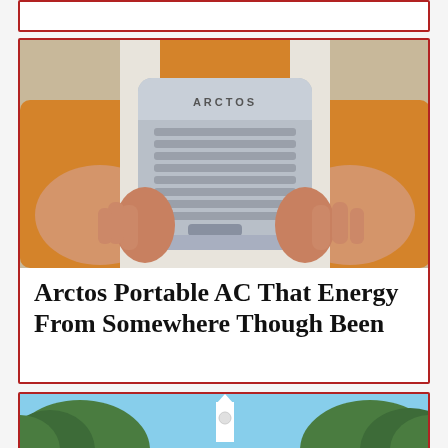[Figure (photo): Partial view of a card/article block at the very top of the page, showing only its border with white background.]
[Figure (photo): Person in orange shirt holding an Arctos portable air conditioner unit — a small grey boxy device with horizontal vented grilles on the front and ARCTOS text on top.]
Arctos Portable AC That Energy From Somewhere Though Been
[Figure (photo): Bottom partial card showing tops of green trees and a white steeple or tower against a blue sky, partially cut off at the bottom of the page.]